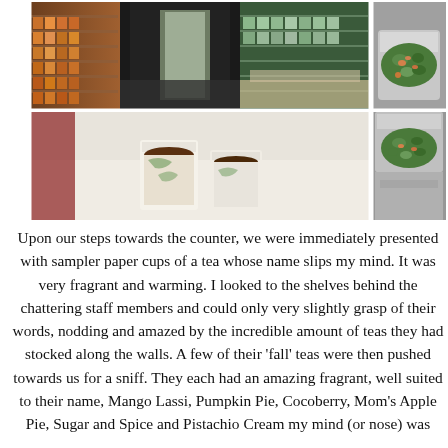[Figure (photo): Photo collage of a tea shop interior: top-left shows shelves stocked with teas and the shop entrance; top-right and bottom-right show a close-up of a tin/container filled with loose leaf tea blend; bottom-left shows two white paper sampler cups of tea on a counter.]
Upon our steps towards the counter, we were immediately presented with sampler paper cups of a tea whose name slips my mind. It was very fragrant and warming. I looked to the shelves behind the chattering staff members and could only very slightly grasp of their words, nodding and amazed by the incredible amount of teas they had stocked along the walls. A few of their 'fall' teas were then pushed towards us for a sniff. They each had an amazing fragrant, well suited to their name, Mango Lassi, Pumpkin Pie, Cocoberry, Mom's Apple Pie, Sugar and Spice and Pistachio Cream my mind (or nose) was